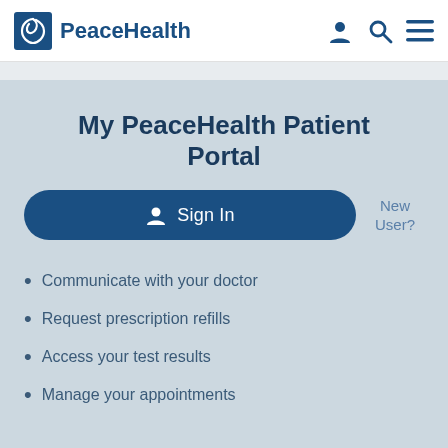PeaceHealth
My PeaceHealth Patient Portal
Sign In
New User?
Communicate with your doctor
Request prescription refills
Access your test results
Manage your appointments